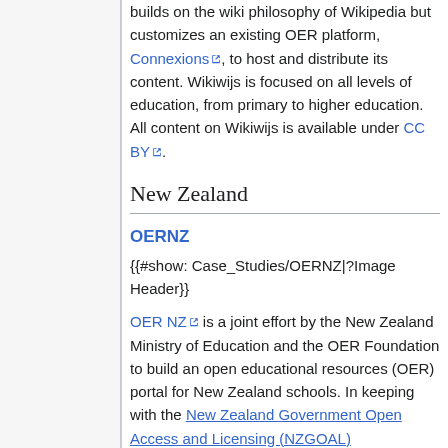builds on the wiki philosophy of Wikipedia but customizes an existing OER platform, Connexions, to host and distribute its content. Wikiwijs is focused on all levels of education, from primary to higher education. All content on Wikiwijs is available under CC BY.
New Zealand
OERNZ
{{#show: Case_Studies/OERNZ|?Image Header}}
OER NZ is a joint effort by the New Zealand Ministry of Education and the OER Foundation to build an open educational resources (OER) portal for New Zealand schools. In keeping with the New Zealand Government Open Access and Licensing (NZGOAL)